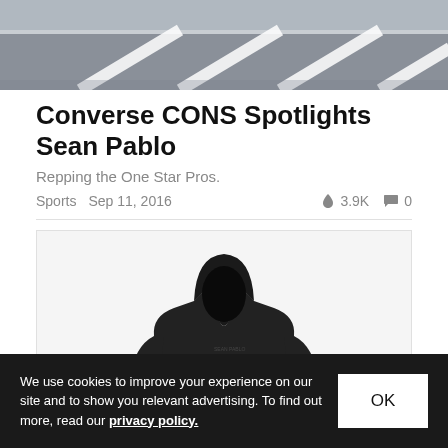[Figure (photo): Top portion of a photo showing a road or parking lot with white lane markings on grey asphalt]
Converse CONS Spotlights Sean Pablo
Repping the One Star Pros.
Sports  Sep 11, 2016  🔥 3.9K  💬 0
[Figure (photo): A person wearing a dark black hoodie with the hood up, face obscured in shadow, standing against a white background]
We use cookies to improve your experience on our site and to show you relevant advertising. To find out more, read our privacy policy.